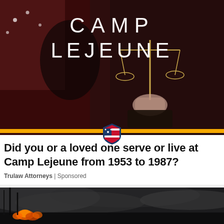[Figure (photo): Dark dramatic photo with a person holding scales of justice, American flag in background, with 'CAMP LEJEUNE' text overlaid in large white letters. A patriotic shield logo is centered at the bottom of the image over a gold bar.]
Did you or a loved one serve or live at Camp Lejeune from 1953 to 1987?
Trulaw Attorneys | Sponsored
[Figure (photo): Dark smoky outdoor nighttime photo with orange fire/flames visible at the bottom of the frame.]